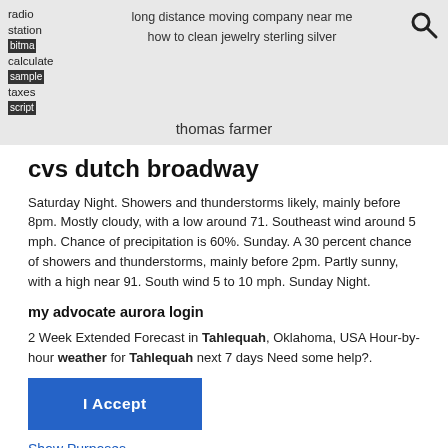radio station  long distance moving company near me  how to clean jewelry sterling silver  calculate sample taxes script  thomas farmer
cvs dutch broadway
Saturday Night. Showers and thunderstorms likely, mainly before 8pm. Mostly cloudy, with a low around 71. Southeast wind around 5 mph. Chance of precipitation is 60%. Sunday. A 30 percent chance of showers and thunderstorms, mainly before 2pm. Partly sunny, with a high near 91. South wind 5 to 10 mph. Sunday Night.
my advocate aurora login
2 Week Extended Forecast in Tahlequah, Oklahoma, USA Hour-by-hour weather for Tahlequah next 7 days Need some help?.
I  Accept
Show Purposes